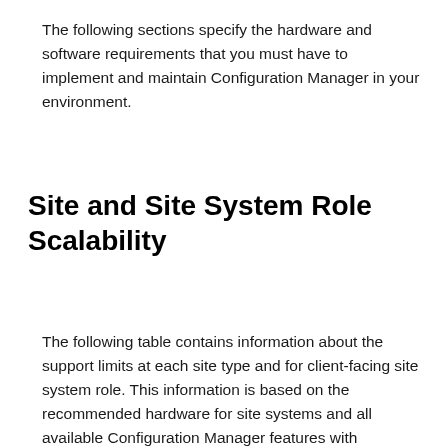The following sections specify the hardware and software requirements that you must have to implement and maintain Configuration Manager in your environment.
Site and Site System Role Scalability
The following table contains information about the support limits at each site type and for client-facing site system role. This information is based on the recommended hardware for site systems and all available Configuration Manager features with